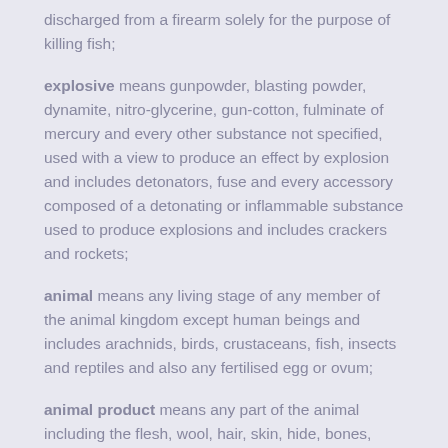discharged from a firearm solely for the purpose of killing fish;
explosive means gunpowder, blasting powder, dynamite, nitro-glycerine, gun-cotton, fulminate of mercury and every other substance not specified, used with a view to produce an effect by explosion and includes detonators, fuse and every accessory composed of a detonating or inflammable substance used to produce explosions and includes crackers and rockets;
animal means any living stage of any member of the animal kingdom except human beings and includes arachnids, birds, crustaceans, fish, insects and reptiles and also any fertilised egg or ovum;
animal product means any part of the animal including the flesh, wool, hair, skin, hide, bones, horns, hooves, feathers, and other portions of the carcass and viscera, blood, milk,